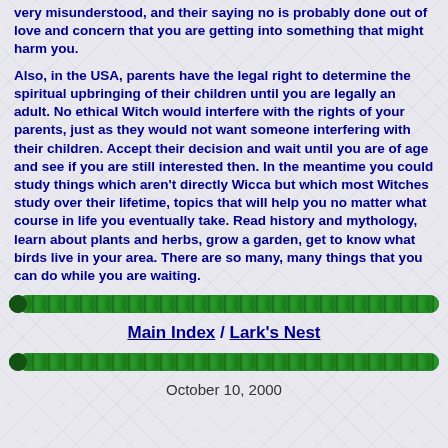very misunderstood, and their saying no is probably done out of love and concern that you are getting into something that might harm you.
Also, in the USA, parents have the legal right to determine the spiritual upbringing of their children until you are legally an adult. No ethical Witch would interfere with the rights of your parents, just as they would not want someone interfering with their children. Accept their decision and wait until you are of age and see if you are still interested then. In the meantime you could study things which aren't directly Wicca but which most Witches study over their lifetime, topics that will help you no matter what course in life you eventually take. Read history and mythology, learn about plants and herbs, grow a garden, get to know what birds live in your area. There are so many, many things that you can do while you are waiting.
[Figure (other): Green decorative rope/chain divider bar]
Main Index / Lark's Nest
[Figure (other): Green decorative rope/chain divider bar]
October 10, 2000